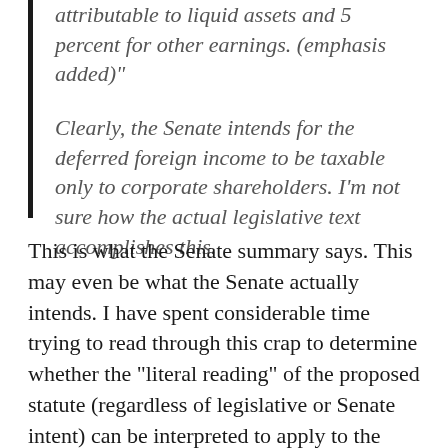attributable to liquid assets and 5 percent for other earnings. (emphasis added)"
Clearly, the Senate intends for the deferred foreign income to be taxable only to corporate shareholders. I'm not sure how the actual legislative text accomplishes this.
This is what the Senate summary says. This may even be what the Senate actually intends. I have spent considerable time trying to read through this crap to determine whether the “literal reading” of the proposed statute (regardless of legislative or Senate intent) can be interpreted to apply to the shareholders of